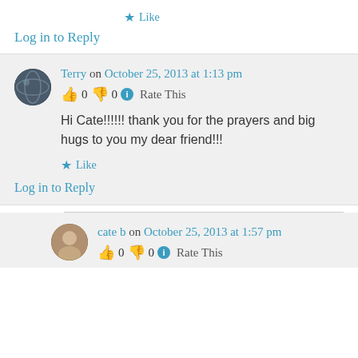★ Like
Log in to Reply
Terry on October 25, 2013 at 1:13 pm
👍 0 👎 0 ℹ Rate This
Hi Cate!!!!!! thank you for the prayers and big hugs to you my dear friend!!!
★ Like
Log in to Reply
cate b on October 25, 2013 at 1:57 pm
👍 0 👎 0 ℹ Rate This